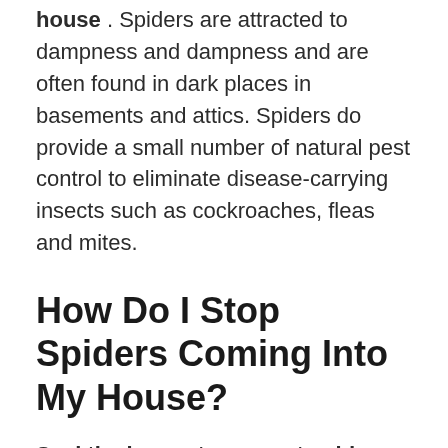expected that there will be spiders in the house. Spiders are attracted to dampness and dampness and are often found in dark places in basements and attics. Spiders do provide a small number of natural pest control to eliminate disease-carrying insects such as cockroaches, fleas and mites.
How Do I Stop Spiders Coming Into My House?
Seal the house to prevent spiders from entering through cracks or gaps. Cover the vents with a fine mesh insect screen. Apply caulk around windows and doors for extra sealing.